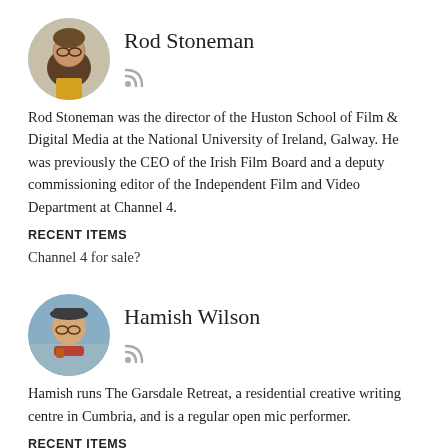Rod Stoneman
[Figure (photo): Circular avatar photo of Rod Stoneman]
Rod Stoneman was the director of the Huston School of Film & Digital Media at the National University of Ireland, Galway. He was previously the CEO of the Irish Film Board and a deputy commissioning editor of the Independent Film and Video Department at Channel 4.
RECENT ITEMS
Channel 4 for sale?
Hamish Wilson
[Figure (photo): Circular avatar photo of Hamish Wilson]
Hamish runs The Garsdale Retreat, a residential creative writing centre in Cumbria, and is a regular open mic performer.
RECENT ITEMS
The Last Hurrah